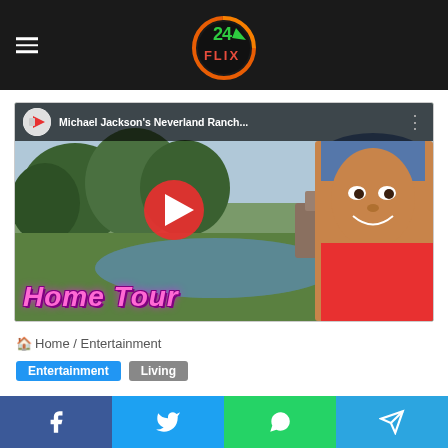24 FLIX
[Figure (screenshot): YouTube video thumbnail showing Michael Jackson's Neverland Ranch Home Tour. Features a park/estate background with a pond and trees, overlaid with 'HOME TOUR' text in pink stylized font, a YouTube play button, and a photo of Michael Jackson on the right wearing a red shirt and blue cap. The video title bar reads 'Michael Jackson's Neverland Ranch...']
Home / Entertainment
Entertainment Living